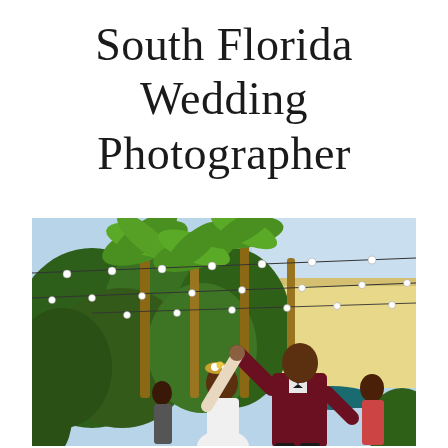South Florida Wedding Photographer
[Figure (photo): Outdoor wedding reception scene: a couple dancing under string lights strung between palm trees. The groom wears a maroon/burgundy suit with a bow tie, and holds hands raised with the bride who wears white with a floral headpiece. Lush green tropical foliage and a yellow building are visible in the background, with a blue sky overhead.]